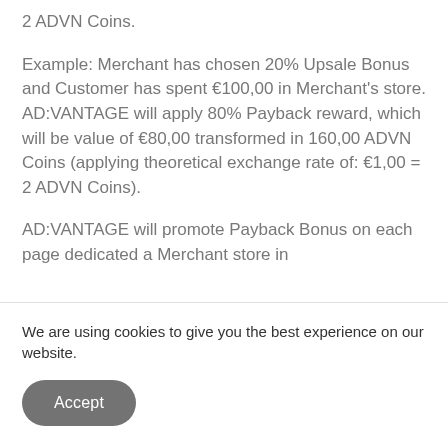2 ADVN Coins.
Example: Merchant has chosen 20% Upsale Bonus and Customer has spent €100,00 in Merchant's store. AD:VANTAGE will apply 80% Payback reward, which will be value of €80,00 transformed in 160,00 ADVN Coins (applying theoretical exchange rate of: €1,00 = 2 ADVN Coins).
AD:VANTAGE will promote Payback Bonus on each page dedicated a Merchant store in
We are using cookies to give you the best experience on our website.
Accept